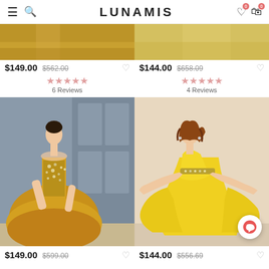LUNAMIS
[Figure (photo): Partial top of product image - golden/yellow dress, cropped]
[Figure (photo): Partial top of product image - yellow dress with gold detail, cropped]
$149.00 $562.00 6 Reviews
$144.00 $658.09 4 Reviews
[Figure (photo): Model wearing a golden mermaid-style ball gown with jeweled bodice, in front of gray paneled doors]
[Figure (photo): Model wearing a bright yellow flowing chiffon gown with jeweled sweetheart neckline]
$149.00 $599.00
$144.00 $556.69